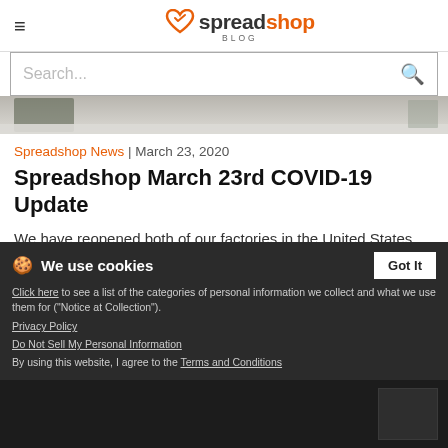spreadshop BLOG
Search...
[Figure (photo): Partial hero image showing a factory or warehouse worker, cropped strip]
Spreadshop News | March 23, 2020
Spreadshop March 23rd COVID-19 Update
We have reopened both of our factories in the United States (hooray)! After legal clarification by the Nevada and Pennsylvania governments, we are now able to operate our facilities by enacting strict health and safety guidelines. Read more Read more »
We use cookies
Click here to see a list of the categories of personal information we collect and what we use them for ("Notice at Collection").
Privacy Policy
Do Not Sell My Personal Information
By using this website, I agree to the Terms and Conditions